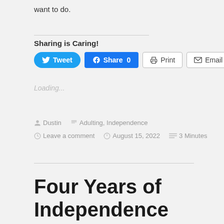want to do.
Sharing is Caring!
[Figure (other): Social sharing buttons: Tweet, Share 0, Print, Email]
Loading...
Dustin   Adulting, Independence
Leave a comment   August 15, 2022   3 Minutes
Four Years of Independence